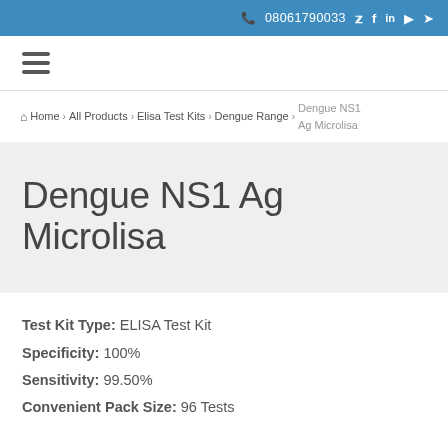📞 08061790033  🐦 f in ▶ ✈
≡ (hamburger menu)
🏠 Home › All Products › Elisa Test Kits › Dengue Range › Dengue NS1 Ag Microlisa
Dengue NS1 Ag Microlisa
Test Kit Type: ELISA Test Kit
Specificity: 100%
Sensitivity: 99.50%
Convenient Pack Size: 96 Tests